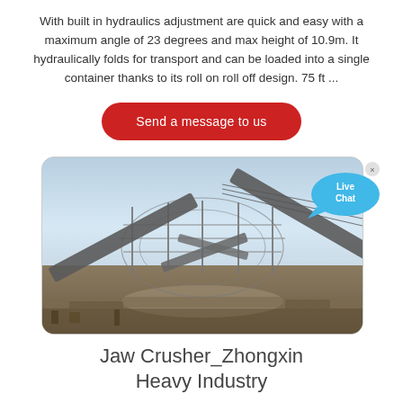With built in hydraulics adjustment are quick and easy with a maximum angle of 23 degrees and max height of 10.9m. It hydraulically folds for transport and can be loaded into a single container thanks to its roll on roll off design. 75 ft ...
Send a message to us
[Figure (photo): Industrial conveyor belt and steel structure framework at a mining or quarrying site under a clear blue sky, with multiple conveyor belts crossing at angles.]
Jaw Crusher_Zhongxin Heavy Industry
★★★★★